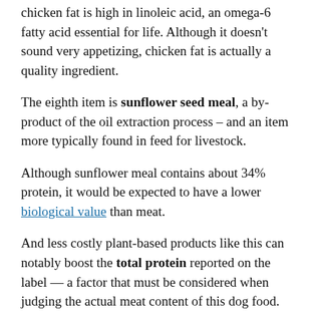chicken fat is high in linoleic acid, an omega-6 fatty acid essential for life. Although it doesn't sound very appetizing, chicken fat is actually a quality ingredient.
The eighth item is sunflower seed meal, a by-product of the oil extraction process – and an item more typically found in feed for livestock.
Although sunflower meal contains about 34% protein, it would be expected to have a lower biological value than meat.
And less costly plant-based products like this can notably boost the total protein reported on the label — a factor that must be considered when judging the actual meat content of this dog food.
The ninth ingredient is pea protein, what remains of a pea after removing the starchy part of the vegetable.